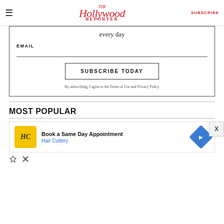The Hollywood Reporter | SUBSCRIBE
every day
EMAIL
SUBSCRIBE TODAY
By subscribing, I agree to the Terms of Use and Privacy Policy
MOST POPULAR
[Figure (other): Advertisement banner: Book a Same Day Appointment - Hair Cuttery, with yellow HC logo and blue arrow icon]